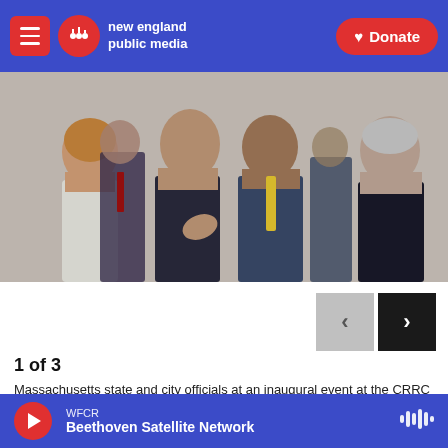new england public media | Donate
[Figure (photo): Massachusetts state and city officials in conversation at an inaugural event at the CRRC rail car factory in Springfield. Multiple people in business attire are shown talking.]
1 of 3
Massachusetts state and city officials at an inaugural event at the CRRC rail car factory in Springfield.
Heather Brandon
A defense spending bill passed by the U.S. House includes language granting a reprieve to a Chinese-
WFCR
Beethoven Satellite Network